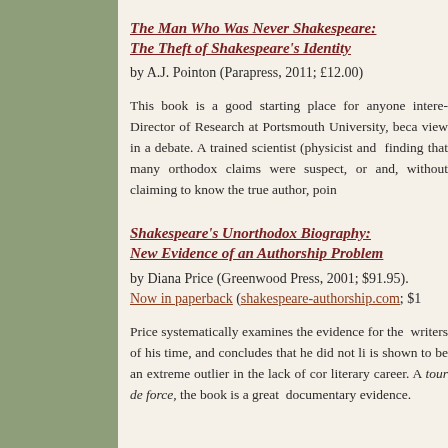The Man Who Was Never Shakespeare: The Theft of Shakespeare's Identity
by A.J. Pointon (Parapress, 2011; £12.00)
This book is a good starting place for anyone interested... Director of Research at Portsmouth University, because view in a debate. A trained scientist (physicist and finding that many orthodox claims were suspect, or and, without claiming to know the true author, poin
Shakespeare's Unorthodox Biography: New Evidence of an Authorship Problem
by Diana Price (Greenwood Press, 2001; $91.95). Now in paperback (shakespeare-authorship.com; $1
Price systematically examines the evidence for the writers of his time, and concludes that he did not li is shown to be an extreme outlier in the lack of cor literary career. A tour de force, the book is a great documentary evidence.